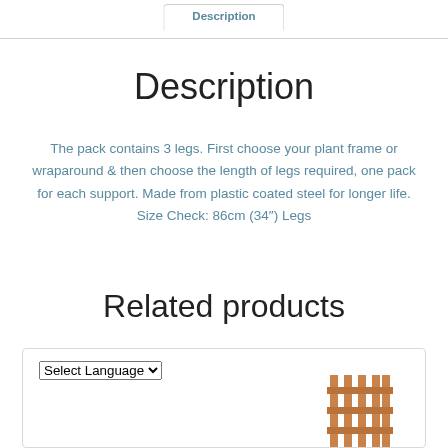Description
Description
The pack contains 3 legs. First choose your plant frame or wraparound & then choose the length of legs required, one pack for each support. Made from plastic coated steel for longer life. Size Check: 86cm (34″) Legs
Related products
[Figure (screenshot): Product card with a language selector dropdown reading 'Select Language' and a partial product image (wooden fence/trellis product)]